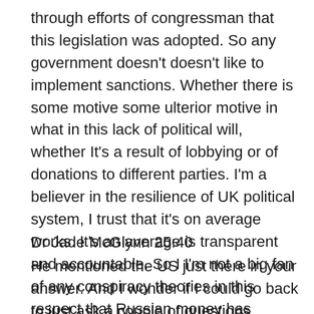through efforts of congressman that this legislation was adopted. So any government doesn't doesn't like to implement sanctions. Whether there is some motive some ulterior motive in what in this lack of political will, whether It's a result of lobbying or of donations to different parties. I'm a believer in the resilience of UK political system, I trust that it's on average works. It's an average is transparent and accountable. So I I'm not a big fan of any conspiracy theories in this respect that Russian money has corrupted the Downing Street and the parliament. Let's see, let's see what comes out of it.
Dr Jade McGlynn 25:40
He mentioned the US just there in your answer. And I wonder if I could go back to just ask a couple of questions around the US. So the new Biden administration has announced about it f...